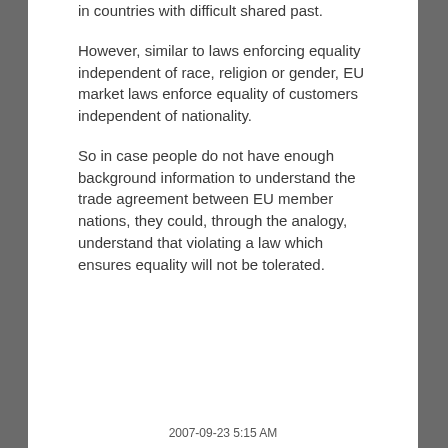in countries with difficult shared past.
However, similar to laws enforcing equality independent of race, religion or gender, EU market laws enforce equality of customers independent of nationality.
So in case people do not have enough background information to understand the trade agreement between EU member nations, they could, through the analogy, understand that violating a law which ensures equality will not be tolerated.
2007-09-23 5:15 AM